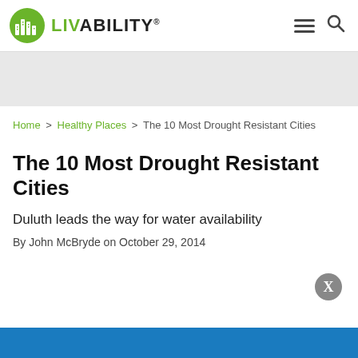LIVABILITY
[Figure (other): Gray advertisement banner area]
Home > Healthy Places > The 10 Most Drought Resistant Cities
The 10 Most Drought Resistant Cities
Duluth leads the way for water availability
By John McBryde on October 29, 2014
[Figure (photo): Blue image strip at bottom of page]